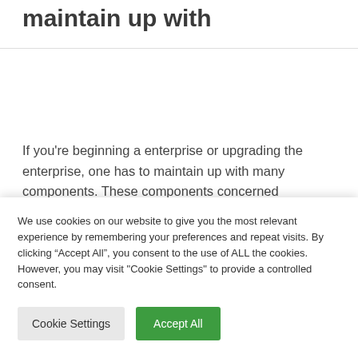upgrading the enterprise, one has to maintain up with
If you're beginning a enterprise or upgrading the enterprise, one has to maintain up with many components. These components concerned collectively are the stepping stones to the success of a enterprise. A web based or a global agency...
We use cookies on our website to give you the most relevant experience by remembering your preferences and repeat visits. By clicking "Accept All", you consent to the use of ALL the cookies. However, you may visit "Cookie Settings" to provide a controlled consent.